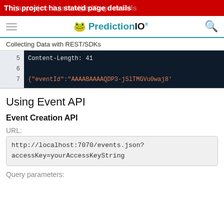This project has stated page details
[Figure (screenshot): PredictionIO navigation bar with frog logo, hamburger menu, and search icon]
Collecting Data with REST/SDKs
[Figure (screenshot): Code block showing lines 5-7 with Content-Length: 41 and JSON eventId response]
Using Event API
Event Creation API
URL:
http://localhost:7070/events.json?
accessKey=yourAccessKeyString
Query parameters: